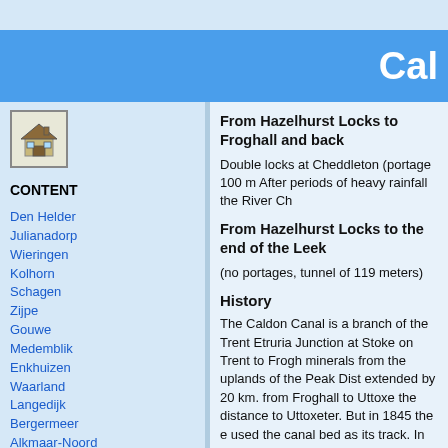Cal
[Figure (illustration): Home icon - small house illustration in a bordered square]
CONTENT
Den Helder
Julianadorp
Wieringen
Kolhorn
Schagen
Zijpe
Gouwe
Medemblik
Enkhuizen
Waarland
Langedijk
Bergermeer
Alkmaar-Noord
Alkmaar
Egmond
Hoorn
Mijzenpolder
Eilandspolder
Beetskoog
Akersloot
Uitgeest
Wormer
De Zaan
Zaandijk
Wor...
From Hazelhurst Locks to Froghall and back
Double locks at Cheddleton (portage 100 m After periods of heavy rainfall the River Ch
From Hazelhurst Locks to the end of the Leek
(no portages, tunnel of 119 meters)
History
The Caldon Canal is a branch of the Trent Etruria Junction at Stoke on Trent to Frogh minerals from the uplands of the Peak Dist extended by 20 km. from Froghall to Uttoxe the distance to Uttoxeter. But in 1845 the e used the canal bed as its track. In 1817 the coal to the town Leek. Another reason was Rudyard Lake that had the function of a re in 1961 the canal was officially closed. Alth use as a water feeder to the Trent and Mer to enable navigation. In 1983 restoration w